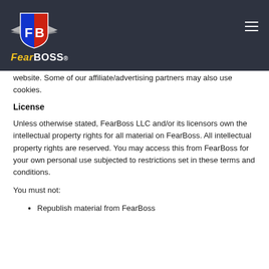[Figure (logo): FearBoss logo: shield with FB initials in red and blue, wings on sides, 'Fear' in yellow italic and 'BOSS' in white bold text below]
website. Some of our affiliate/advertising partners may also use cookies.
License
Unless otherwise stated, FearBoss LLC and/or its licensors own the intellectual property rights for all material on FearBoss. All intellectual property rights are reserved. You may access this from FearBoss for your own personal use subjected to restrictions set in these terms and conditions.
You must not:
Republish material from FearBoss